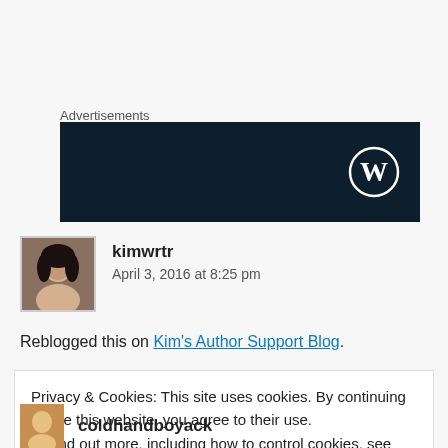Advertisements
[Figure (other): WordPress advertisement banner — dark navy background with WordPress logo (W in circle) on the right]
kimwrtr
April 3, 2016 at 8:25 pm
Reblogged this on Kim's Author Support Blog.
Privacy & Cookies: This site uses cookies. By continuing to use this website, you agree to their use.
To find out more, including how to control cookies, see here: Cookie Policy
Close and accept
coldhandboyack